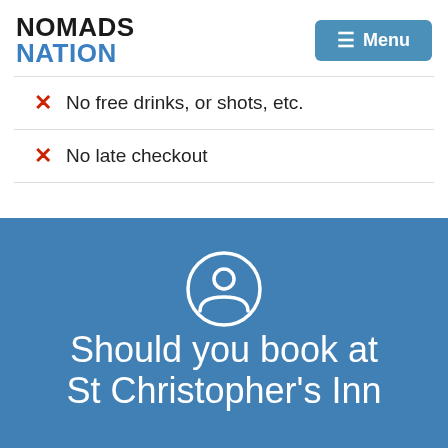NOMADS NATION
No free drinks, or shots, etc.
No late checkout
[Figure (illustration): User/person icon — circle outline with head and shoulders silhouette]
Should you book at St Christopher's Inn